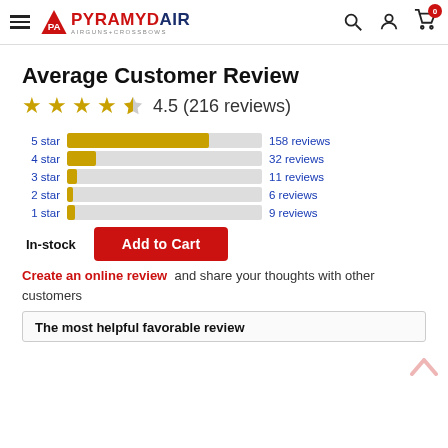[Figure (logo): Pyramyd Air logo with PA triangle icon, text PYRAMYD AIR, tagline AIRGUNS+CROSSBOWS]
Average Customer Review
4.5 (216 reviews)
[Figure (bar-chart): Star ratings distribution]
In-stock
Add to Cart
Create an online review and share your thoughts with other customers
The most helpful favorable review
5 of 5 people found the following review helpful